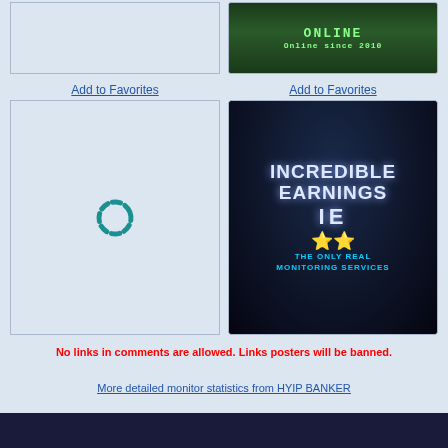[Figure (screenshot): Top row left cell - empty/blank area with border]
[Figure (screenshot): Top row right cell - Online since 2010 banner (green text on dark background)]
Add to Favorites
[Figure (screenshot): Bottom left cell with spinning loading indicator (teal dashed circle)]
Add to Favorites
[Figure (screenshot): INCREDIBLE EARNINGS IE - The Only Real Monitoring Services banner with stars]
No links in comments are allowed. Links posters will be banned.
More detailed monitor statistics from HYIP BANKER